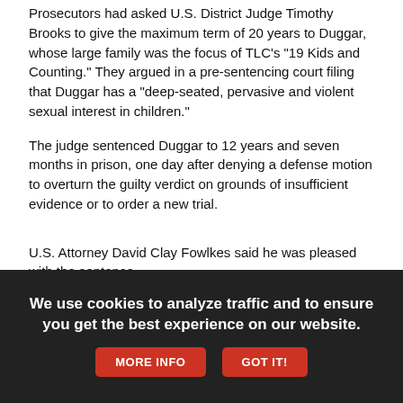Prosecutors had asked U.S. District Judge Timothy Brooks to give the maximum term of 20 years to Duggar, whose large family was the focus of TLC's "19 Kids and Counting." They argued in a pre-sentencing court filing that Duggar has a "deep-seated, pervasive and violent sexual interest in children."
The judge sentenced Duggar to 12 years and seven months in prison, one day after denying a defense motion to overturn the guilty verdict on grounds of insufficient evidence or to order a new trial.
U.S. Attorney David Clay Fowlkes said he was pleased with the sentence.
"While this is not the sentence we asked for, this is a lengthy sentence," Fowlkes said outside the courthouse.
We use cookies to analyze traffic and to ensure you get the best experience on our website. MORE INFO GOT IT!